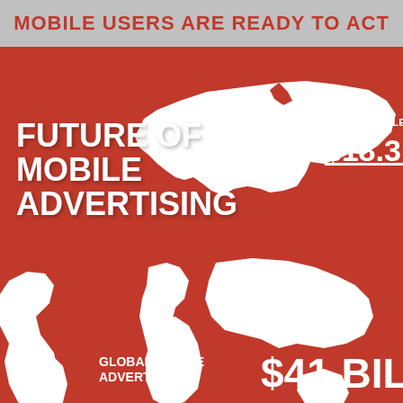MOBILE USERS ARE READY TO ACT
[Figure (infographic): Infographic about Future of Mobile Advertising. Red background with white USA map silhouette and white world map silhouette. Contains text: 'Future of Mobile Advertising', Bank of America Merrill Lynch quote about US mobile ad market growing to $18.3 billion, and Global Mobile Advertising $41 billion.]
FUTURE OF MOBILE ADVERTISING
Bank of America Merril Lynch predicts that the US mobile ad will grow to $18.3 Bi
GLOBAL MOBILE ADVERTISING
$41 Bil